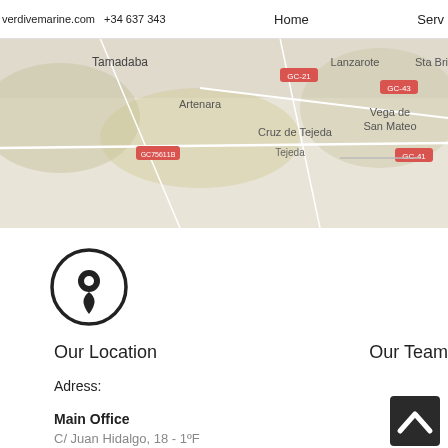verdivemarine.com  +34 637 343    Home    Serv
[Figure (map): Street map showing Gran Canaria area with locations: Tamadaba, Artenara, Cruz de Tejeda, Tejeda, Lanzarote, Vega de San Mateo, Sta Brigida, and road markers GC-21, GC-43, GC-41]
[Figure (illustration): Location pin icon inside a circle, black outline on white background]
Our Location
Adress:
Main Office
C/ Juan Hidalgo, 18 - 1ºF
35229 Las Palmas de Gran Canaria
Our Team